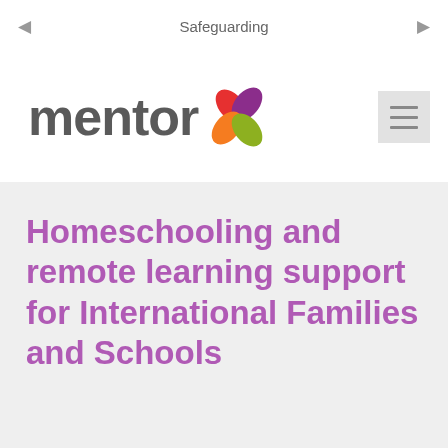Safeguarding
[Figure (logo): Mentor logo with stylized flower/leaf icon in red, purple, orange and green colors next to the word 'mentor' in dark grey, with a hamburger menu icon on the right]
Homeschooling and remote learning support for International Families and Schools